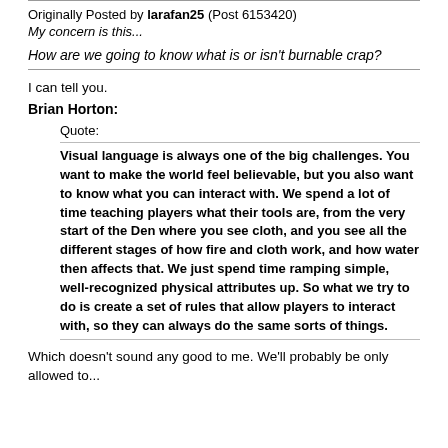Originally Posted by larafan25 (Post 6153420)
My concern is this...

How are we going to know what is or isn't burnable crap?
I can tell you.
Brian Horton:
Quote:
Visual language is always one of the big challenges. You want to make the world feel believable, but you also want to know what you can interact with. We spend a lot of time teaching players what their tools are, from the very start of the Den where you see cloth, and you see all the different stages of how fire and cloth work, and how water then affects that. We just spend time ramping simple, well-recognized physical attributes up. So what we try to do is create a set of rules that allow players to interact with, so they can always do the same sorts of things.
Which doesn't sound any good to me. We'll probably be only allowed to...